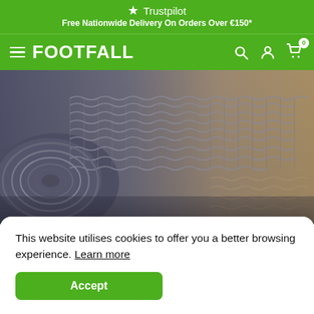★ Trustpilot
Free Nationwide Delivery On Orders Over €150*
FOOTFALL
[Figure (photo): Close-up photograph of a rolled/coiled modular entrance mat showing interlocked grey and beige plastic/rubber link pieces with a textured surface pattern]
This website utilises cookies to offer you a better browsing experience. Learn more
Accept